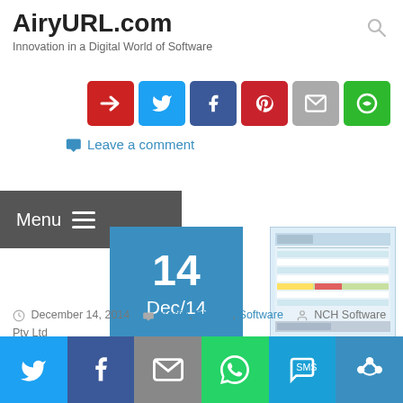AiryURL.com - Innovation in a Digital World of Software
[Figure (screenshot): Row of social sharing icon buttons (partially visible): red arrow, Twitter blue, Facebook blue, Pinterest red, email grey, green circle icon]
Leave a comment
[Figure (screenshot): Dark grey navigation Menu bar with hamburger icon]
[Figure (screenshot): Blue date box showing 14 / Dec/14]
[Figure (screenshot): Thumbnail screenshot of Express Scribe software application window]
Express Scribe – Plus
December 14, 2014   Audio, Players, Software   NCH Software Pty Ltd
[Figure (screenshot): Bottom social sharing bar with Twitter, Facebook, Email, WhatsApp, SMS, and more icons on colored backgrounds]